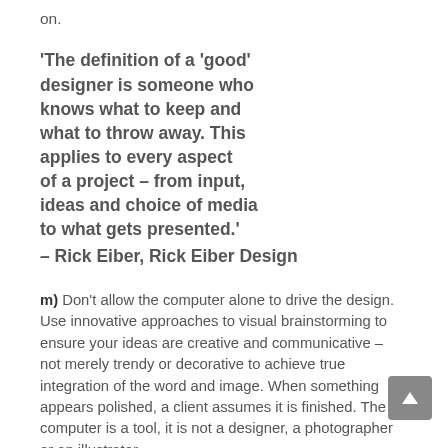on.
'The definition of a 'good' designer is someone who knows what to keep and what to throw away. This applies to every aspect of a project – from input, ideas and choice of media to what gets presented.' – Rick Eiber, Rick Eiber Design
m) Don't allow the computer alone to drive the design. Use innovative approaches to visual brainstorming to ensure your ideas are creative and communicative – not merely trendy or decorative to achieve true integration of the word and image. When something appears polished, a client assumes it is finished. The computer is a tool, it is not a designer, a photographer or an illustrator.
n) Ignore the unfair voices of judgement, who dictate